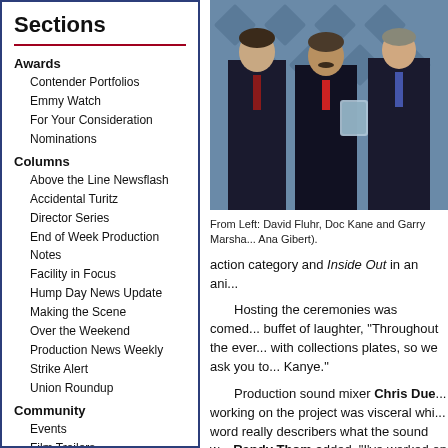Sections
Awards
Contender Portfolios
Emmy Watch
For Your Consideration
Nominations
Columns
Above the Line Newsflash
Accidental Turitz
Director Series
End of Week Production Notes
Facility in Focus
Hump Day News Update
Making the Scene
Over the Weekend
Production News Weekly
Strike Alert
Union Roundup
Community
Events
Film Trailers
Help Wanted
Obituaries
Prime Time Softball League
The Student Lens
[Figure (photo): Three men in suits standing together, the middle man holding a glass award plaque. They are posing in front of a branded backdrop.]
From Left: David Fluhr, Doc Kane and Garry Marshall (photo by Ana Gibert).
action category and Inside Out in an ani...
Hosting the ceremonies was comed... buffet of laughter, "Throughout the ever... with collections plates, so we ask you to... Kanye."
Production sound mixer Chris Due... working on the project was visceral whi... word really describers what the sound w... Randy Thom added, "I've worked on a...